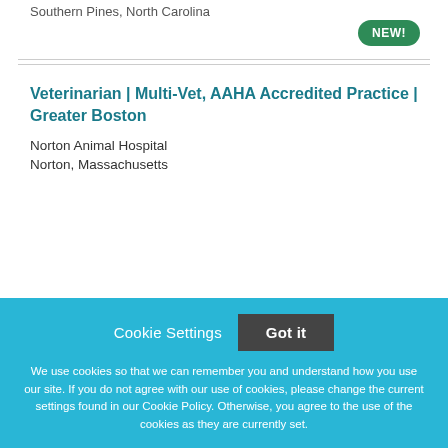Southern Pines, North Carolina
Veterinarian | Multi-Vet, AAHA Accredited Practice | Greater Boston
Norton Animal Hospital
Norton, Massachusetts
Cookie Settings  Got it

We use cookies so that we can remember you and understand how you use our site. If you do not agree with our use of cookies, please change the current settings found in our Cookie Policy. Otherwise, you agree to the use of the cookies as they are currently set.